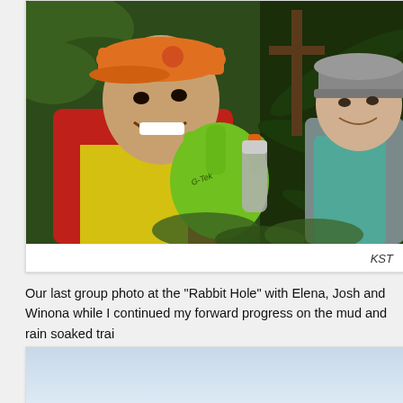[Figure (photo): Group photo at the Rabbit Hole on a muddy trail. A man in an orange cap and yellow shirt wearing bright green G-Tek gloves gives a shaka sign in the foreground. A woman in a grey trucker cap smiles behind him, surrounded by dense tropical vegetation, ferns and dark leafy plants.]
KST
Our last group photo at the “Rabbit Hole” with Elena, Josh and Winona while I continued my forward progress on the mud and rain soaked trai
[Figure (photo): Partial view of a second photo, showing a light blue-grey sky background, bottom portion cut off.]